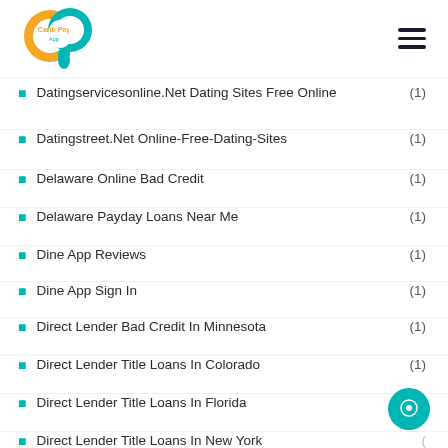Carib Pay App
Datingservicesonline.Net Dating Sites Free Online (1)
Datingstreet.Net Online-Free-Dating-Sites (1)
Delaware Online Bad Credit (1)
Delaware Payday Loans Near Me (1)
Dine App Reviews (1)
Dine App Sign In (1)
Direct Lender Bad Credit In Minnesota (1)
Direct Lender Title Loans In Colorado (1)
Direct Lender Title Loans In Florida (1)
Direct Lender Title Loans In New York (1)
Direct Online Payday Loans (partial)